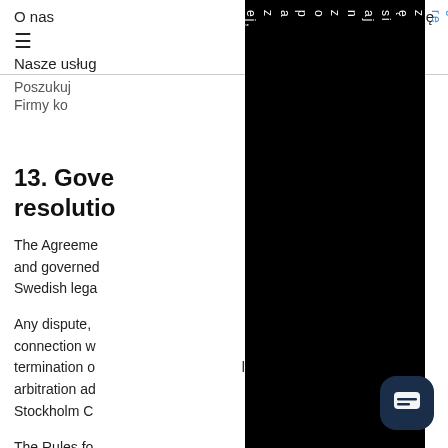O nas   Zaloguj się
≡ Nasze usługi
Poszukuj
Firmy ko
13. Governing law and dispute resolution
The Agreement shall be construed in accordance with, and governed by, Swedish law as applied between Swedish legal entities.
Any dispute, controversy or claim arising out of or in connection with this agreement, its breach, termination or invalidity, shall be finally settled by arbitration administered by the Arbitration Institute of the Stockholm Chamber of Commerce ("SCC").
The Rules for Expedited Arbitrations shall apply, unless the SCC in its discretion determines, taking into account